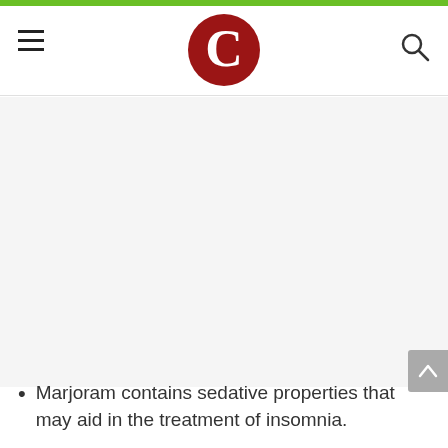[Figure (logo): Red circle logo with white C letter in the center, on a website header with a green top bar, hamburger menu on the left, and search icon on the right.]
Marjoram contains sedative properties that may aid in the treatment of insomnia.